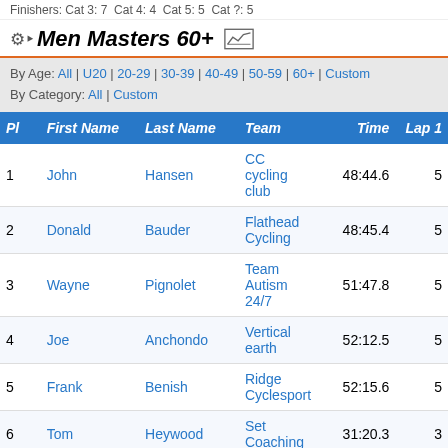Finishers: Cat 3: 7  Cat 4: 4  Cat 5: 5  Cat ?: 5
Men Masters 60+
By Age: All | U20 | 20-29 | 30-39 | 40-49 | 50-59 | 60+ | Custom
By Category: All | Custom
| Pl | First Name | Last Name | Team | Time | Lap 1 |
| --- | --- | --- | --- | --- | --- |
| 1 | John | Hansen | CC cycling club | 48:44.6 | 5 |
| 2 | Donald | Bauder | Flathead Cycling | 48:45.4 | 5 |
| 3 | Wayne | Pignolet | Team Autism 24/7 | 51:47.8 | 5 |
| 4 | Joe | Anchondo | Vertical earth | 52:12.5 | 5 |
| 5 | Frank | Benish | Ridge Cyclesport | 52:15.6 | 5 |
| 6 | Tom | Heywood | Set Coaching | 31:20.3 | 3 |
Finishers: Cat 3: 3  Cat 4: 2  Cat ?: 1
Men Single Speed
By Age: All | U20 | 20-29 | 30-39 | 40-49 | 50-59 | 60+ | Custom